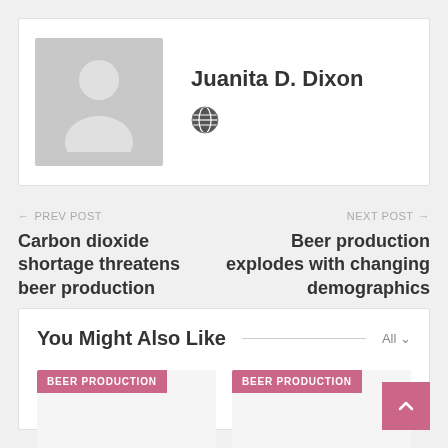[Figure (illustration): Author profile card with grey placeholder avatar silhouette and globe icon]
Juanita D. Dixon
← PREV POST
Carbon dioxide shortage threatens beer production
NEXT POST →
Beer production explodes with changing demographics
You Might Also Like
All ∨
BEER PRODUCTION
BEER PRODUCTION